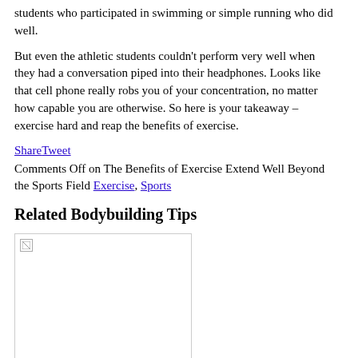students who participated in swimming or simple running who did well.
But even the athletic students couldn't perform very well when they had a conversation piped into their headphones. Looks like that cell phone really robs you of your concentration, no matter how capable you are otherwise. So here is your takeaway – exercise hard and reap the benefits of exercise.
ShareTweet
Comments Off on The Benefits of Exercise Extend Well Beyond the Sports Field Exercise, Sports
Related Bodybuilding Tips
[Figure (photo): Broken image placeholder with small icon in top-left corner]